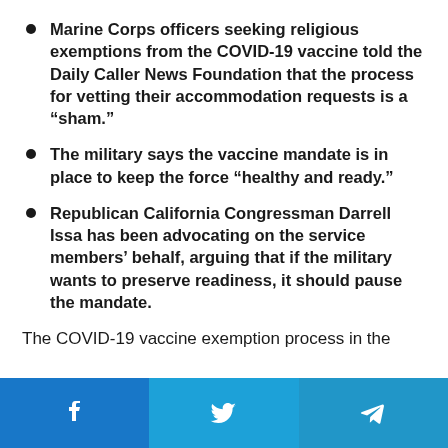Marine Corps officers seeking religious exemptions from the COVID-19 vaccine told the Daily Caller News Foundation that the process for vetting their accommodation requests is a “sham.”
The military says the vaccine mandate is in place to keep the force “healthy and ready.”
Republican California Congressman Darrell Issa has been advocating on the service members’ behalf, arguing that if the military wants to preserve readiness, it should pause the mandate.
The COVID-19 vaccine exemption process in the